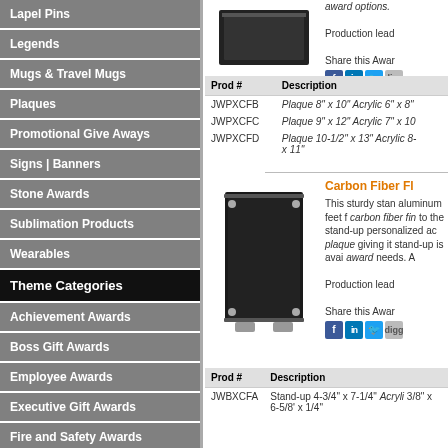Lapel Pins
Legends
Mugs & Travel Mugs
Plaques
Promotional Give Aways
Signs | Banners
Stone Awards
Sublimation Products
Wearables
Theme Categories
Achievement Awards
Boss Gift Awards
Employee Awards
Executive Gift Awards
Fire and Safety Awards
Gift Awards
[Figure (photo): Black framed plaque product photo]
award options.
Production lead
Share this Awar
| Prod # | Description |
| --- | --- |
| JWPXCFB | Plaque 8" x 10" Acrylic 6" x 8" |
| JWPXCFC | Plaque 9" x 12" Acrylic 7" x 10 |
| JWPXCFD | Plaque 10-1/2" x 13" Acrylic 8- x 11" |
[Figure (photo): Carbon fiber finish stand-up plaque product photo]
Carbon Fiber Fl
This sturdy stan aluminum feet f carbon fiber fin to the stand-up personalized ac plaque giving it stand-up is avai award needs. A
Production lead
Share this Awar
| Prod # | Description |
| --- | --- |
| JWBXCFA | Stand-up 4-3/4" x 7-1/4" Acryli 3/8" x 6-5/8' x 1/4" |